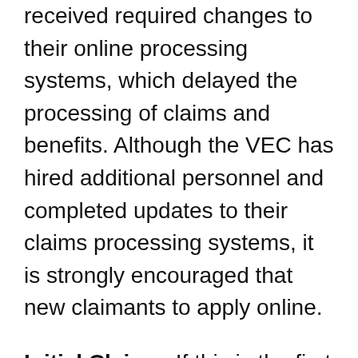received required changes to their online processing systems, which delayed the processing of claims and benefits. Although the VEC has hired additional personnel and completed updates to their claims processing systems, it is strongly encouraged that new claimants to apply online.
Initial Claims: If this is the first time that you are filing an unemployment claim under any of the federal or state programs available, you must first file an initial unemployment insurance claim to determine your eligibility and which programs may apply to you.